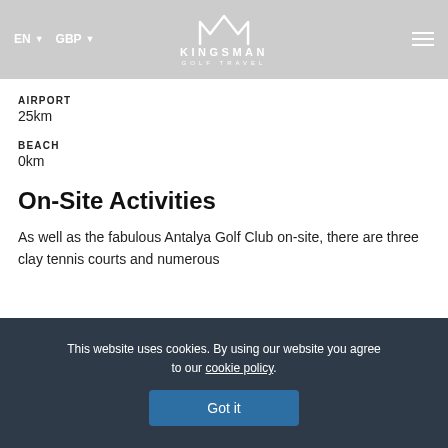EN GBP | KINGSMAN GOLF TRAVEL
drive from Antalya International Airport.
CITY CENTER
35km
AIRPORT
25km
BEACH
0km
On-Site Activities
As well as the fabulous Antalya Golf Club on-site, there are three clay tennis courts and numerous
This website uses cookies. By using our website you agree to our cookie policy.